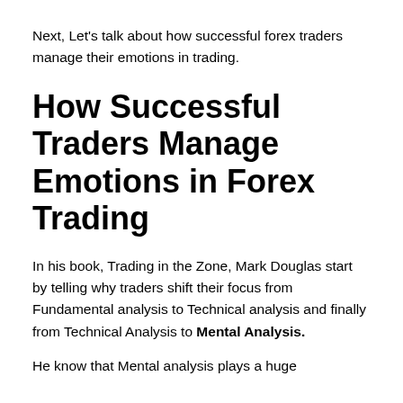Next, Let's talk about how successful forex traders manage their emotions in trading.
How Successful Traders Manage Emotions in Forex Trading
In his book, Trading in the Zone, Mark Douglas start by telling why traders shift their focus from Fundamental analysis to Technical analysis and finally from Technical Analysis to Mental Analysis.
He know that Mental analysis plays a huge